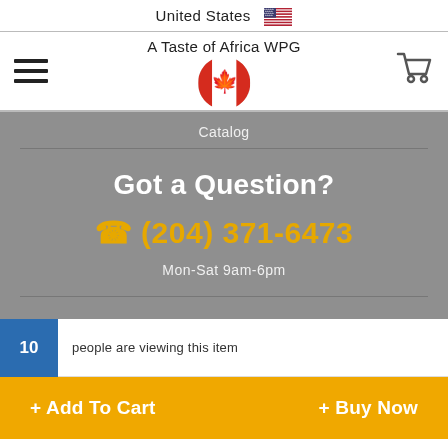United States 🇺🇸
A Taste of Africa WPG
Catalog
Got a Question?
📞 (204) 371-6473
Mon-Sat 9am-6pm
10 people are viewing this item
+ Add To Cart
+ Buy Now